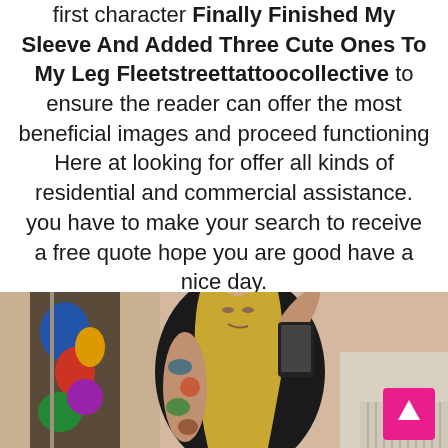first character Finally Finished My Sleeve And Added Three Cute Ones To My Leg Fleetstreettattoocollective to ensure the reader can offer the most beneficial images and proceed functioning Here at looking for offer all kinds of residential and commercial assistance. you have to make your search to receive a free quote hope you are good have a nice day.
[Figure (photo): A person with blonde hair and a tattooed arm taking a mirror selfie with a phone, wearing a black top. Colorful tattoos visible on wardrobe or sleeve items in background.]